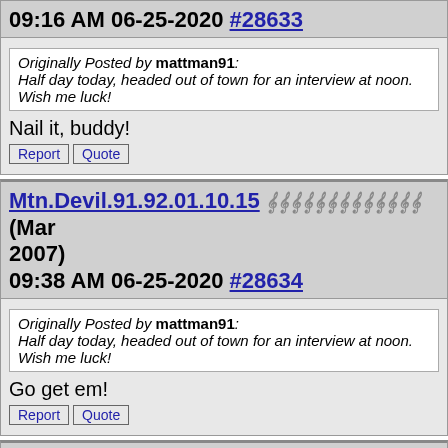09:16 AM 06-25-2020 #28633
Originally Posted by mattman91:
Half day today, headed out of town for an interview at noon. Wish me luck!
Nail it, buddy!
Report  Quote
Mtn.Devil.91.92.01.10.15 (Mar 2007)
09:38 AM 06-25-2020 #28634
Originally Posted by mattman91:
Half day today, headed out of town for an interview at noon. Wish me luck!
Go get em!
Report  Quote
YmoBeThere (Mar 2007)
09:56 AM 06-25-2020 #28635